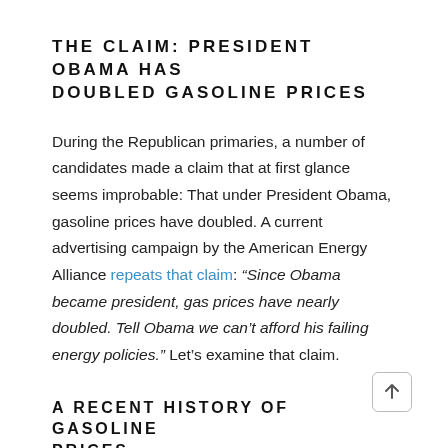THE CLAIM: PRESIDENT OBAMA HAS DOUBLED GASOLINE PRICES
During the Republican primaries, a number of candidates made a claim that at first glance seems improbable: That under President Obama, gasoline prices have doubled. A current advertising campaign by the American Energy Alliance repeats that claim: “Since Obama became president, gas prices have nearly doubled. Tell Obama we can’t afford his failing energy policies.” Let’s examine that claim.
A RECENT HISTORY OF GASOLINE PRICES